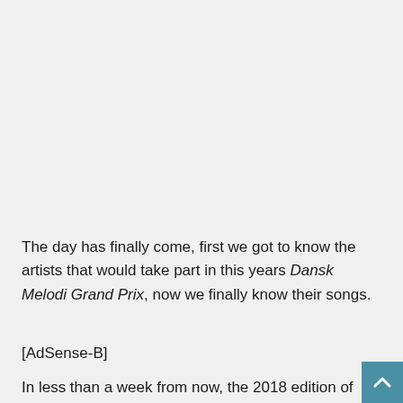The day has finally come, first we got to know the artists that would take part in this years Dansk Melodi Grand Prix, now we finally know their songs.
[AdSense-B]
In less than a week from now, the 2018 edition of Dansk Melodi Grand Prix will take place at Gigantium in Aalborg. The show will